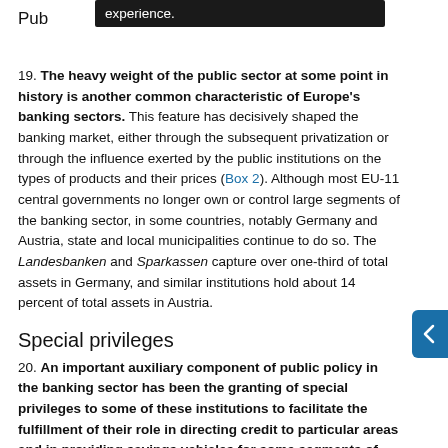experience.
Pub
19. The heavy weight of the public sector at some point in history is another common characteristic of Europe's banking sectors. This feature has decisively shaped the banking market, either through the subsequent privatization or through the influence exerted by the public institutions on the types of products and their prices (Box 2). Although most EU-11 central governments no longer own or control large segments of the banking sector, in some countries, notably Germany and Austria, state and local municipalities continue to do so. The Landesbanken and Sparkassen capture over one-third of total assets in Germany, and similar institutions hold about 14 percent of total assets in Austria.
Special privileges
20. An important auxiliary component of public policy in the banking sector has been the granting of special privileges to some of these institutions to facilitate the fulfillment of their role in directing credit to particular areas and in providing savings vehicles for some segments of the population.